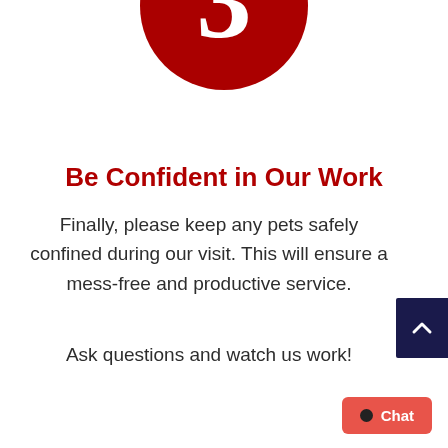[Figure (illustration): Dark red circle with white number 3 in serif font, partially cropped at top of page]
Be Confident in Our Work
Finally, please keep any pets safely confined during our visit. This will ensure a mess-free and productive service.
Ask questions and watch us work!